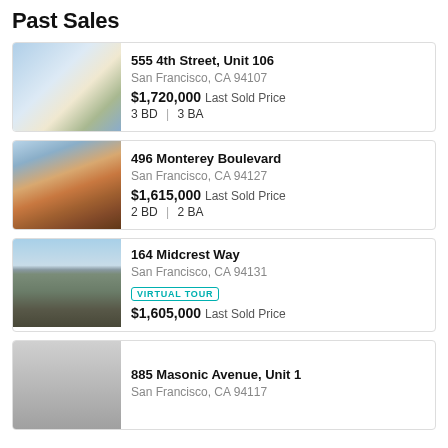Past Sales
555 4th Street, Unit 106 | San Francisco, CA 94107 | $1,720,000 Last Sold Price | 3 BD | 3 BA
496 Monterey Boulevard | San Francisco, CA 94127 | $1,615,000 Last Sold Price | 2 BD | 2 BA
164 Midcrest Way | San Francisco, CA 94131 | VIRTUAL TOUR | $1,605,000 Last Sold Price
885 Masonic Avenue, Unit 1 | San Francisco, CA 94117